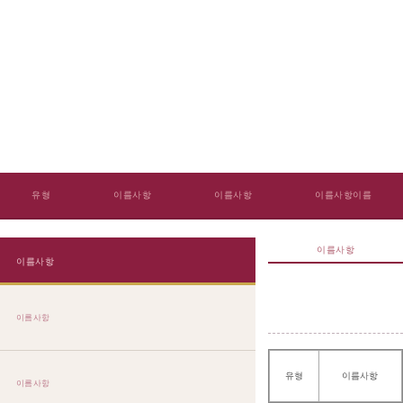네비게이션 바: 유형 | 이름사항 | 이름사항 | 이름사항이름
이름사항
이름사항
이름사항
이름사항
이름사항
이름사항
| 유형 | 이름사항 |
| --- | --- |